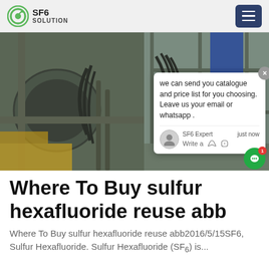SF6 SOLUTION
[Figure (photo): Industrial SF6 equipment with cables and pipes; a worker in blue overalls visible on scaffolding. A chat popup overlay says: 'we can send you catalogue and price list for you choosing. Leave us your email or whatsapp .' with SF6 Expert chat interface.]
Where To Buy sulfur hexafluoride reuse abb
Where To Buy sulfur hexafluoride reuse abb2016/5/15SF6, Sulfur Hexafluoride. Sulfur Hexafluoride (SF6) is...